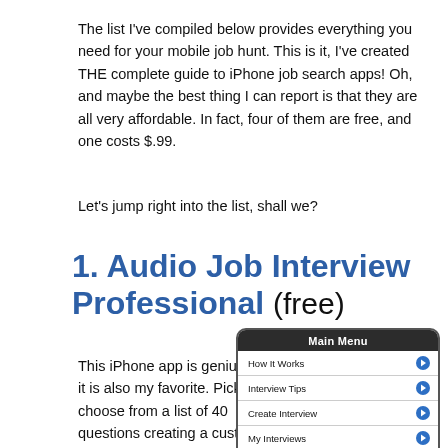The list I've compiled below provides everything you need for your mobile job hunt.  This is it, I've created THE complete guide to iPhone job search apps!  Oh, and maybe the best thing I can report is that they are all very affordable.  In fact, four of them are free, and one costs $.99.
Let's jump right into the list, shall we?
1. Audio Job Interview Professional (free)
This iPhone app is genius and it is also my favorite.  Pick and choose from a list of 40 questions creating a custom interview.
[Figure (screenshot): iPhone app screenshot showing 'Main Menu' with dark header and list items: How It Works, Interview Tips, Create Interview, My Interviews, Browse Questions, each with a blue arrow button. Bottom shows partial image of people.]
After making your